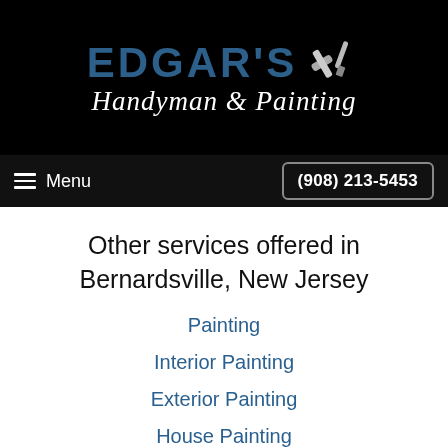[Figure (logo): Edgar's Handyman & Painting logo on black background with hammer and paintbrush icon]
Menu  (908) 213-5453
Other services offered in Bernardsville, New Jersey
Painting
Interior Painting
Exterior Painting
House Painting
Commercial Painting
Cabinet Painting